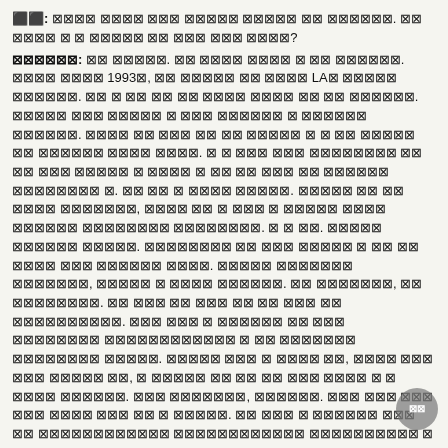Q: [REDACTED] [REDACTED] [REDACTED] [REDACTED] [REDACTED] [REDACTED] [REDACTED]. [REDACTED] [REDACTED] [REDACTED] [REDACTED] [REDACTED] [REDACTED] [REDACTED] [REDACTED]?
ANSWER: [REDACTED] [REDACTED]. [REDACTED] [REDACTED] [REDACTED] [REDACTED] [REDACTED] [REDACTED]. [REDACTED] [REDACTED] 1993[REDACTED], [REDACTED] [REDACTED] [REDACTED] [REDACTED] LA[REDACTED] [REDACTED] [REDACTED]. [REDACTED] [REDACTED] [REDACTED] [REDACTED] [REDACTED] [REDACTED] [REDACTED] [REDACTED] [REDACTED] [REDACTED]. [REDACTED] [REDACTED] [REDACTED] [REDACTED] [REDACTED] [REDACTED] [REDACTED] [REDACTED] [REDACTED]. [REDACTED] [REDACTED] [REDACTED] [REDACTED] [REDACTED] [REDACTED] [REDACTED] [REDACTED] [REDACTED] [REDACTED]. [REDACTED] [REDACTED] [REDACTED] [REDACTED] [REDACTED] [REDACTED] [REDACTED] [REDACTED] [REDACTED] [REDACTED] [REDACTED] [REDACTED] [REDACTED]. [REDACTED] [REDACTED] [REDACTED] [REDACTED] [REDACTED] [REDACTED] [REDACTED] [REDACTED] [REDACTED] [REDACTED] [REDACTED] [REDACTED] [REDACTED] [REDACTED], [REDACTED] [REDACTED] [REDACTED] [REDACTED] [REDACTED] [REDACTED] [REDACTED] [REDACTED] [REDACTED]. [REDACTED] [REDACTED] [REDACTED] [REDACTED] [REDACTED]. [REDACTED] [REDACTED] [REDACTED] [REDACTED] [REDACTED] [REDACTED] [REDACTED] [REDACTED] [REDACTED] [REDACTED] [REDACTED] [REDACTED] [REDACTED] [REDACTED] [REDACTED] [REDACTED] [REDACTED] [REDACTED]. [REDACTED] [REDACTED] [REDACTED] [REDACTED] [REDACTED], [REDACTED] [REDACTED] [REDACTED] [REDACTED] [REDACTED] [REDACTED]. [REDACTED] [REDACTED] [REDACTED] [REDACTED] [REDACTED] [REDACTED] [REDACTED] [REDACTED] [REDACTED] [REDACTED] [REDACTED] [REDACTED] [REDACTED]. [REDACTED] [REDACTED] [REDACTED] [REDACTED] [REDACTED] [REDACTED] [REDACTED] [REDACTED] [REDACTED] [REDACTED] [REDACTED] [REDACTED] [REDACTED] [REDACTED] [REDACTED] [REDACTED] [REDACTED]. [REDACTED] [REDACTED] [REDACTED] [REDACTED] [REDACTED] [REDACTED] [REDACTED] [REDACTED] [REDACTED] [REDACTED] [REDACTED] [REDACTED]. [REDACTED] [REDACTED] [REDACTED] [REDACTED] [REDACTED] [REDACTED] [REDACTED], [REDACTED] [REDACTED] [REDACTED] [REDACTED] [REDACTED], [REDACTED] [REDACTED] [REDACTED] [REDACTED] [REDACTED] [REDACTED] [REDACTED]. [REDACTED] [REDACTED] [REDACTED] [REDACTED] [REDACTED] [REDACTED] [REDACTED] [REDACTED] [REDACTED] [REDACTED] [REDACTED] [REDACTED] [REDACTED]. [REDACTED] [REDACTED] [REDACTED] [REDACTED] [REDACTED] [REDACTED] [REDACTED] [REDACTED] [REDACTED] [REDACTED] [REDACTED] [REDACTED] [REDACTED] [REDACTED] [REDACTED] [REDACTED] [REDACTED], [REDACTED] [REDACTED] [REDACTED] [REDACTED] [REDACTED] [REDACTED] [REDACTED] [REDACTED] [REDACTED], [REDACTED] [REDACTED] [REDACTED] [REDACTED].